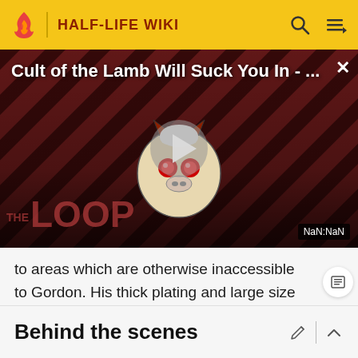HALF-LIFE WIKI
[Figure (screenshot): Video thumbnail for 'Cult of the Lamb Will Suck You In - ...' showing a dark diagonal striped background with a cartoon character, a play button in the center, and 'THE LOOP' text overlay. Timestamp shows NaN:NaN.]
to areas which are otherwise inaccessible to Gordon. His thick plating and large size render him invulnerable to most threats he may encounter.
Behind the scenes